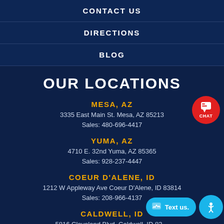CONTACT US
DIRECTIONS
BLOG
OUR LOCATIONS
MESA, AZ
3335 East Main St. Mesa, AZ 85213
Sales: 480-696-4417
YUMA, AZ
4710 E. 32nd Yuma, AZ 85365
Sales: 928-237-4447
COEUR D'ALENE, ID
1212 W Appleway Ave Coeur D'Alene, ID 83814
Sales: 208-966-4137
CALDWELL, ID
5816 Cleveland Blvd. Caldwell, ID 83...
Sales: 208-402-6426